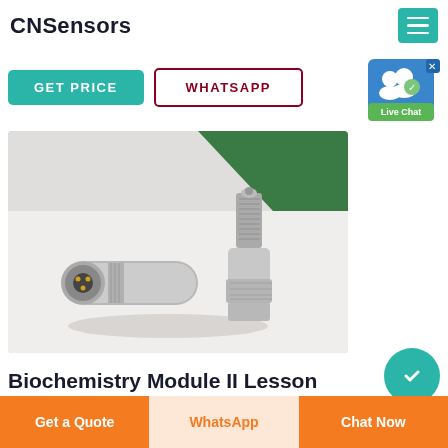CNSensors
GET PRICE
WHATSAPP
[Figure (photo): Two stainless steel sensors/transducers with threaded connectors on a white/green background]
Biochemistry Module II Lesson
Get a Quote | WhatsApp | Chat Now